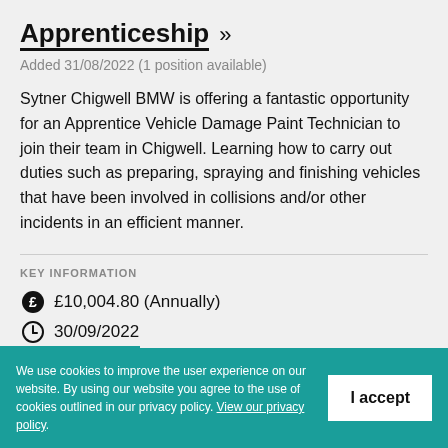Apprenticeship »
Added 31/08/2022 (1 position available)
Sytner Chigwell BMW is offering a fantastic opportunity for an Apprentice Vehicle Damage Paint Technician to join their team in Chigwell. Learning how to carry out duties such as preparing, spraying and finishing vehicles that have been involved in collisions and/or other incidents in an efficient manner.
KEY INFORMATION
£10,004.80 (Annually)
30/09/2022
IG10 3UE
We use cookies to improve the user experience on our website. By using our website you agree to the use of cookies outlined in our privacy policy. View our privacy policy.